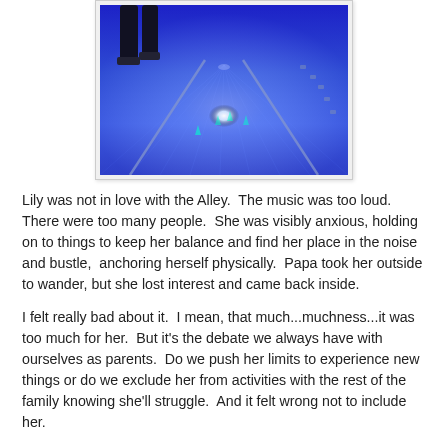[Figure (photo): A bowling alley lane under blue UV/neon lighting. A person's legs are visible at the top left, standing on the lane. The lane stretches into the distance with bright reflective light in the middle and lane dividers visible.]
Lily was not in love with the Alley.  The music was too loud.  There were too many people.  She was visibly anxious, holding on to things to keep her balance and find her place in the noise and bustle,  anchoring herself physically.  Papa took her outside to wander, but she lost interest and came back inside.
I felt really bad about it.  I mean, that much...muchness...it was too much for her.  But it's the debate we always have with ourselves as parents.  Do we push her limits to experience new things or do we exclude her from activities with the rest of the family knowing she'll struggle.  And it felt wrong not to include her.